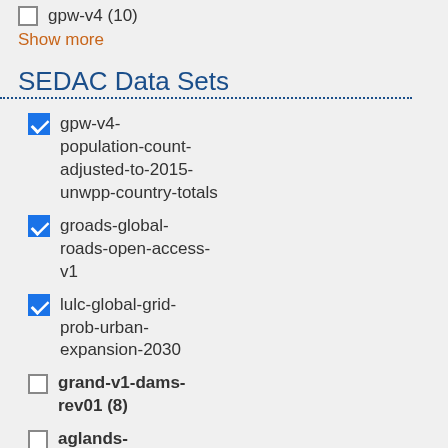gpw-v4 (10)
Show more
SEDAC Data Sets
gpw-v4-population-count-adjusted-to-2015-unwpp-country-totals
groads-global-roads-open-access-v1
lulc-global-grid-prob-urban-expansion-2030
grand-v1-dams-rev01 (8)
aglands-croplands-2000 (5)
Show more